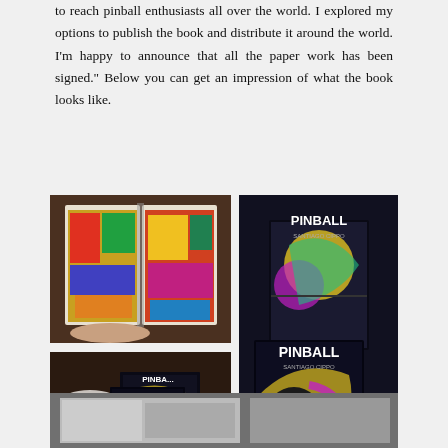to reach pinball enthusiasts all over the world. I explored my options to publish the book and distribute it around the world. I'm happy to announce that all the paper work has been signed." Below you can get an impression of what the book looks like.
[Figure (photo): Four photos showing a pinball photography book. Top left: open book showing colorful pinball machine artwork. Top right: two copies of the PINBALL book by Santiago Cippo with black cover showing colorful pinball art. Bottom left: multiple copies of the book stacked on a wooden surface with an open book showing interior photos. Bottom strip: partial photo of additional book images.]